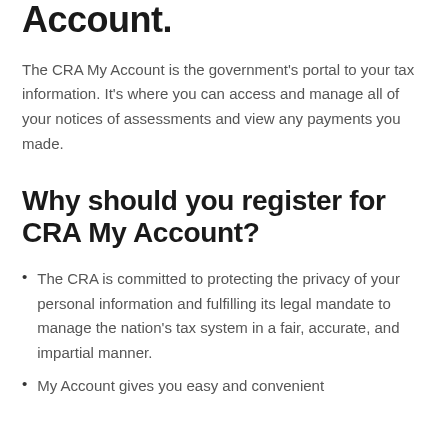Account.
The CRA My Account is the government's portal to your tax information. It's where you can access and manage all of your notices of assessments and view any payments you made.
Why should you register for CRA My Account?
The CRA is committed to protecting the privacy of your personal information and fulfilling its legal mandate to manage the nation's tax system in a fair, accurate, and impartial manner.
My Account gives you easy and convenient